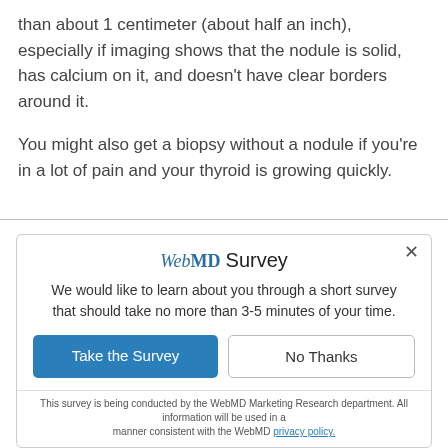than about 1 centimeter (about half an inch), especially if imaging shows that the nodule is solid, has calcium on it, and doesn't have clear borders around it.
You might also get a biopsy without a nodule if you're in a lot of pain and your thyroid is growing quickly.
WebMD Survey
We would like to learn about you through a short survey that should take no more than 3-5 minutes of your time.
[Take the Survey] [No Thanks]
This survey is being conducted by the WebMD Marketing Research department. All information will be used in a manner consistent with the WebMD privacy policy.